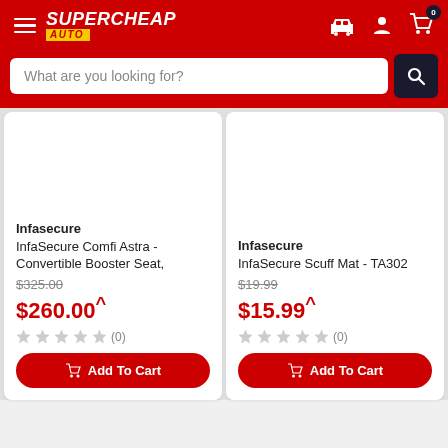[Figure (screenshot): Supercheap Auto website header with hamburger menu, logo, car/account/cart icons, and search bar]
Infasecure
InfaSecure Comfi Astra - Convertible Booster Seat,
$325.00
$260.00^
(0)
Infasecure
InfaSecure Scuff Mat - TA302
$19.99
$15.99^
(0)